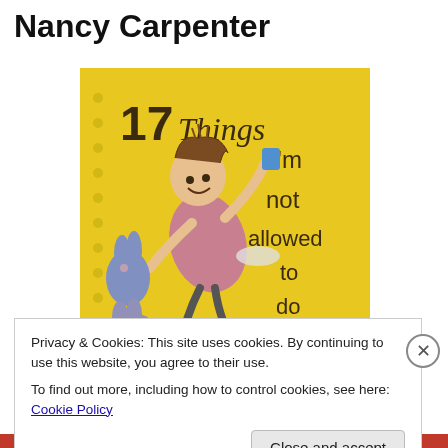Nancy Carpenter
[Figure (photo): Book cover of '17 Things I'm Not Allowed to Do Anymore' by Jenny Offill & Nancy Carpenter. Yellow background with illustrated girl swinging, animals (rabbits, goat), and bold title text.]
Privacy & Cookies: This site uses cookies. By continuing to use this website, you agree to their use.
To find out more, including how to control cookies, see here: Cookie Policy
Close and accept